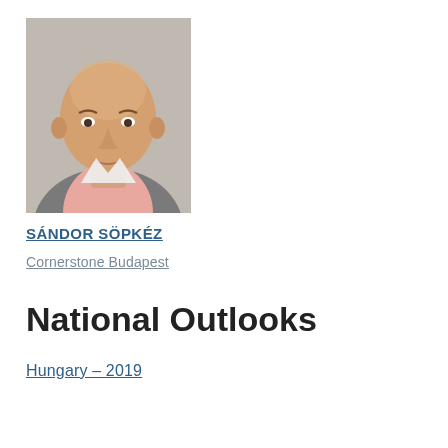[Figure (photo): Headshot portrait of Sándor Söpkéz, a bald man in a grey suit with a pink shirt, photographed against a neutral background.]
SÁNDOR SÖPKÉZ
Cornerstone Budapest
National Outlooks
Hungary – 2019